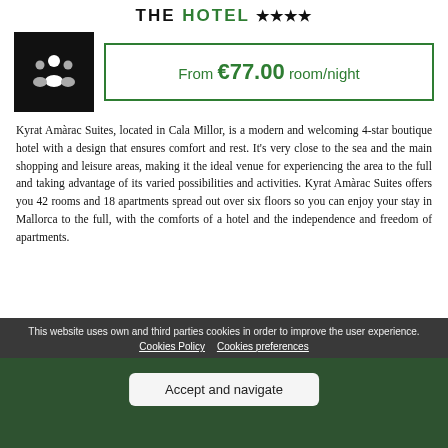THE HOTEL ****
From €77.00 room/night
Kyrat Amàrac Suites, located in Cala Millor, is a modern and welcoming 4-star boutique hotel with a design that ensures comfort and rest. It's very close to the sea and the main shopping and leisure areas, making it the ideal venue for experiencing the area to the full and taking advantage of its varied possibilities and activities. Kyrat Amàrac Suites offers you 42 rooms and 18 apartments spread out over six floors so you can enjoy your stay in Mallorca to the full, with the comforts of a hotel and the independence and freedom of apartments.
This website uses own and third parties cookies in order to improve the user experience.
Cookies Policy   Cookies preferences
Accept and navigate
[Figure (photo): Dark green background hotel image with BOOK text overlay]